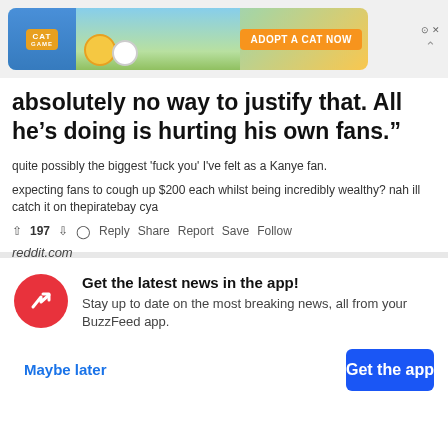[Figure (screenshot): Mobile game advertisement banner for a cat game, showing cartoon cats and 'ADOPT A CAT NOW' button in orange]
absolutely no way to justify that. All he’s doing is hurting his own fans.”
quite possibly the biggest 'fuck you' I've felt as a Kanye fan.
expecting fans to cough up $200 each whilst being incredibly wealthy? nah ill catch it on thepiratebay cya
↑ 197 ↓ ○ Reply Share Report Save Follow
reddit.com
Get the latest news in the app! Stay up to date on the most breaking news, all from your BuzzFeed app.
Maybe later
Get the app